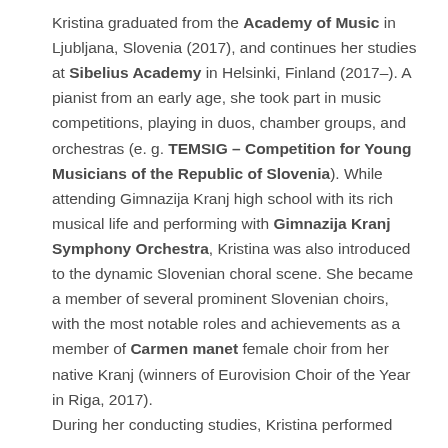Kristina graduated from the Academy of Music in Ljubljana, Slovenia (2017), and continues her studies at Sibelius Academy in Helsinki, Finland (2017–). A pianist from an early age, she took part in music competitions, playing in duos, chamber groups, and orchestras (e. g. TEMSIG – Competition for Young Musicians of the Republic of Slovenia). While attending Gimnazija Kranj high school with its rich musical life and performing with Gimnazija Kranj Symphony Orchestra, Kristina was also introduced to the dynamic Slovenian choral scene. She became a member of several prominent Slovenian choirs, with the most notable roles and achievements as a member of Carmen manet female choir from her native Kranj (winners of Eurovision Choir of the Year in Riga, 2017). During her conducting studies, Kristina performed